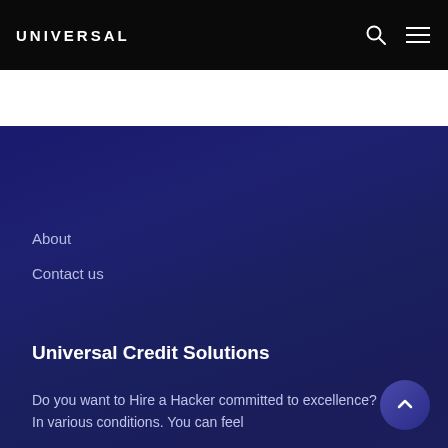UNIVERSAL
About
Contact us
Universal Credit Solutions
Do you want to Hire a Hacker committed to excellence? In various conditions. You can feel